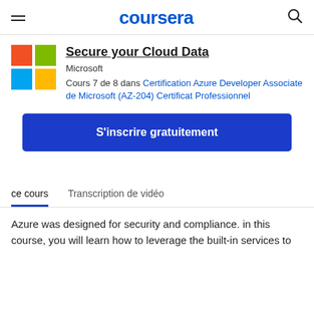coursera
Secure your Cloud Data
Microsoft
Cours 7 de 8 dans Certification Azure Developer Associate de Microsoft (AZ-204) Certificat Professionnel
S'inscrire gratuitement
ce cours   Transcription de vidéo
Azure was designed for security and compliance. in this course, you will learn how to leverage the built-in services to